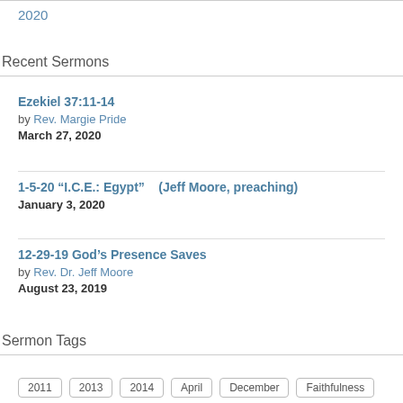2020
Recent Sermons
Ezekiel 37:11-14
by Rev. Margie Pride
March 27, 2020
1-5-20 “I.C.E.: Egypt”    (Jeff Moore, preaching)
January 3, 2020
12-29-19 God’s Presence Saves
by Rev. Dr. Jeff Moore
August 23, 2019
Sermon Tags
2011
2013
2014
April
December
Faithfulness